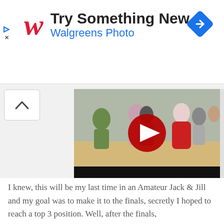[Figure (screenshot): Walgreens Photo advertisement banner with red cursive W logo, 'Try Something New' headline, 'Walgreens Photo' subtitle in blue, a blue diamond navigation icon top right, and small ad controls top left.]
[Figure (screenshot): YouTube video thumbnail showing people dancing in a ballroom/dance hall setting with a red YouTube play button overlay in the center.]
I knew, this will be my last time in an Amateur Jack & Jill and my goal was to make it to the finals, secretly I hoped to reach a top 3 position. Well, after the finals,